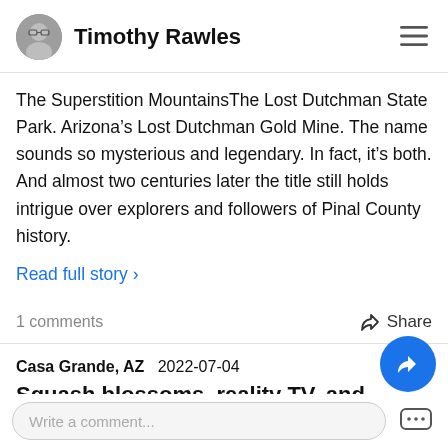Timothy Rawles
The Superstition MountainsThe Lost Dutchman State Park. Arizona’s Lost Dutchman Gold Mine. The name sounds so mysterious and legendary. In fact, it’s both. And almost two centuries later the title still holds intrigue over explorers and followers of Pinal County history.
Read full story ›
1 comments   Share
Casa Grande, AZ   2022-07-04
Squash blossoms, reality TV, and